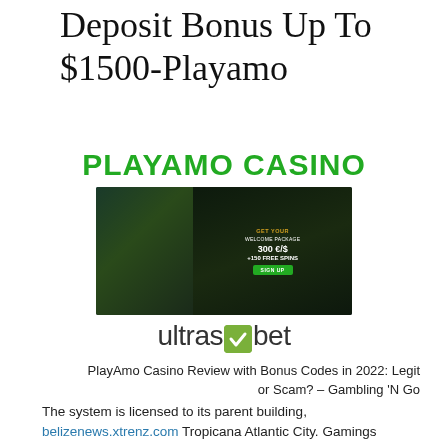Deposit Bonus Up To $1500-Playamo
[Figure (logo): PLAYAMO CASINO text logo in bold green uppercase letters]
[Figure (screenshot): Playamo Casino website screenshot showing welcome package promotion: 300 €/$ + 150 Free Spins with Sign Up button on dark background with fantasy game art]
[Figure (logo): ultrasbet logo with green checkmark icon in a rounded square between 'ultras' and 'bet' text]
PlayAmo Casino Review with Bonus Codes in 2022: Legit or Scam? – Gambling 'N Go
The system is licensed to its parent building, belizenews.xtrenz.com Tropicana Atlantic City. Gamings readily available at Tropicana Online Gambling enterprise include numerous of the very same choices delighted in